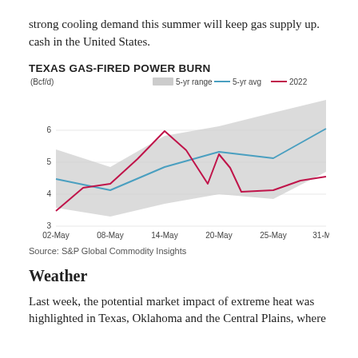strong cooling demand this summer will keep gas supply up. cash in the United States.
[Figure (line-chart): TEXAS GAS-FIRED POWER BURN]
Source: S&P Global Commodity Insights
Weather
Last week, the potential market impact of extreme heat was highlighted in Texas, Oklahoma and the Central Plains, where